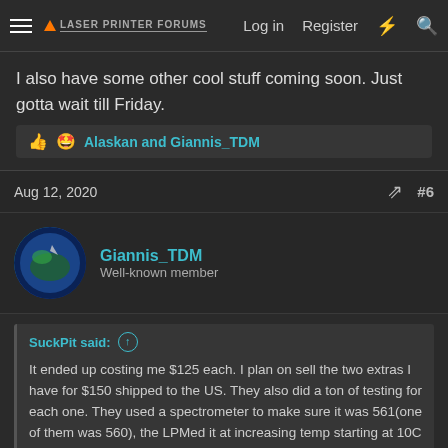Laser Printer Forums — Log in | Register
I also have some other cool stuff coming soon. Just gotta wait till Friday.
Alaskan and Giannis_TDM
Aug 12, 2020  #6
Giannis_TDM
Well-known member
SuckPit said:
It ended up costing me $125 each. I plan on sell the two extras I have for $150 shipped to the US. They also did a ton of testing for each one. They used a spectrometer to make sure it was 561(one of them was 560), the LPMed it at increasing temp starting at 10C and ending at 50C, and they took pictures of the dot to see how